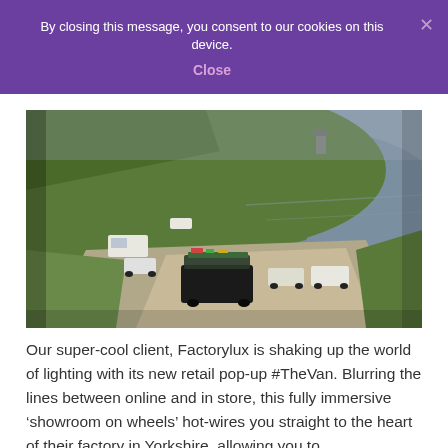By closing this message, you consent to our cookies on this device.
Close
[Figure (photo): Aerial drone photograph of a coastal headland with green cliffs, a bay of calm grey-blue water, and a gravel car park area with several vehicles including a large black van/truck with equipment on its roof, a white caravan, and several cars. A stone tower sits atop the headland in the background.]
Our super-cool client, Factorylux is shaking up the world of lighting with its new retail pop-up #TheVan. Blurring the lines between online and in store, this fully immersive ‘showroom on wheels’ hot-wires you straight to the heart of their factory in Yorkshire, allowing you to